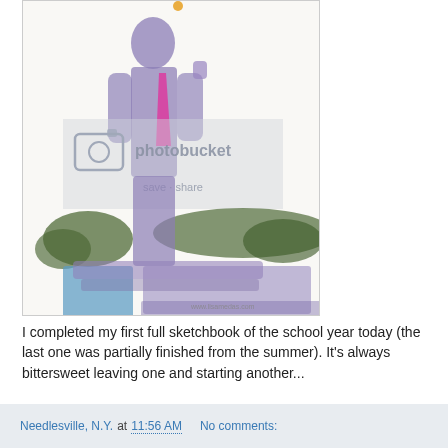[Figure (illustration): A watercolor painting showing a purple silhouette of a person standing, wearing a pink/magenta tie, with green foliage/bushes and blue/purple ground elements in the background. A Photobucket watermark overlay is visible in the center. A small website URL reads www.lisamedas.com at the bottom right corner.]
I completed my first full sketchbook of the school year today (the last one was partially finished from the summer). It's always bittersweet leaving one and starting another...
Needlesville, N.Y. at 11:56 AM    No comments: